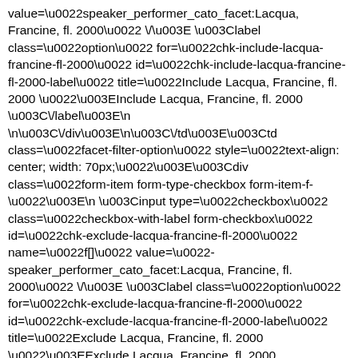value=\u0022speaker_performer_cato_facet:Lacqua, Francine, fl. 2000\u0022 \/\u003E \u003Clabel class=\u0022option\u0022 for=\u0022chk-include-lacqua-francine-fl-2000\u0022 id=\u0022chk-include-lacqua-francine-fl-2000-label\u0022 title=\u0022Include Lacqua, Francine, fl. 2000 \u0022\u003EInclude Lacqua, Francine, fl. 2000 \u003C\/label\u003E\n \n\u003C\/div\u003E\n\u003C\/td\u003E\u003Ctd class=\u0022facet-filter-option\u0022 style=\u0022text-align: center; width: 70px;\u0022\u003E\u003Cdiv class=\u0022form-item form-type-checkbox form-item-f-\u0022\u003E\n \u003Cinput type=\u0022checkbox\u0022 class=\u0022checkbox-with-label form-checkbox\u0022 id=\u0022chk-exclude-lacqua-francine-fl-2000\u0022 name=\u0022f[]\u0022 value=\u0022-speaker_performer_cato_facet:Lacqua, Francine, fl. 2000\u0022 \/\u003E \u003Clabel class=\u0022option\u0022 for=\u0022chk-exclude-lacqua-francine-fl-2000\u0022 id=\u0022chk-exclude-lacqua-francine-fl-2000-label\u0022 title=\u0022Exclude Lacqua, Francine, fl. 2000 \u0022\u003EExclude Lacqua, Francine, fl. 2000 \u003C\/label\u003E\n \n\u003C\/div\u003E\n\u003C\/td\u003E\u003Ctd\u003E\u003Ctd\u003ELacqua, Francine, fl. 2000 (1)\u003C\/td\u003E \u003C\/tr\u003E\n \u003Ctr class=\u0022even\u0022\u003E\u003Ctd class=\u0022facet-filter-option\u0022 style=\u0022text-align: center; width: 70px;\u0022\u003E\u003Cdiv class=\u0022form-item form-type-checkbox form-item-f-1-\u0022\u003E\u003C\/...